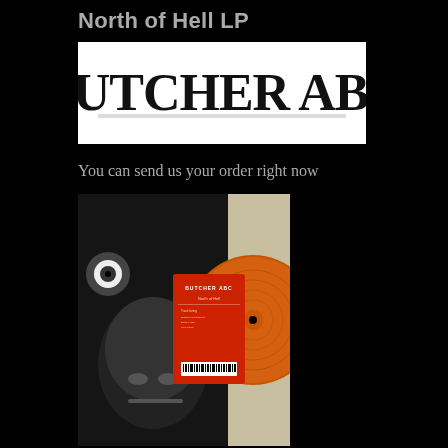North of Hell LP
[Figure (logo): Butcher ABC band logo in heavy metal dripping black font on white background]
You can send us your order right now
[Figure (photo): Photo of Butcher ABC North of Hell LP vinyl record – orange colored vinyl with red sticker label showing band name and track listing, alongside black and white horror artwork featuring a skull and eyeball]